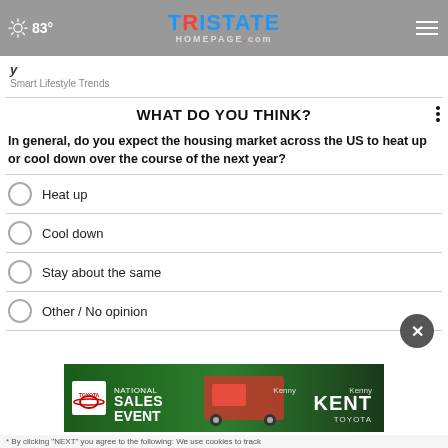83° | TRISTATE HOMEPAGE.com
Smart Lifestyle Trends
WHAT DO YOU THINK?
In general, do you expect the housing market across the US to heat up or cool down over the course of the next year?
Heat up
Cool down
Stay about the same
Other / No opinion
[Figure (photo): Toyota National Sales Event advertisement banner featuring a red truck and Kenny Kent Toyota branding]
* By clicking "NEXT" you agree to the following: We use cookies to track